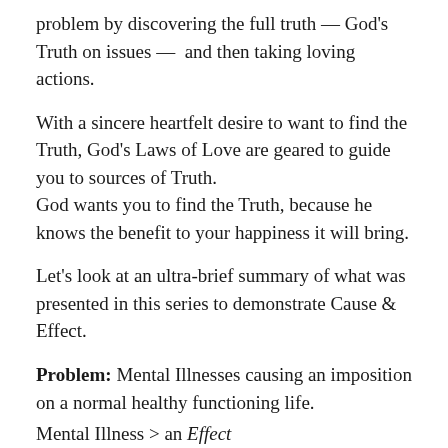problem by discovering the full truth — God's Truth on issues — and then taking loving actions.
With a sincere heartfelt desire to want to find the Truth, God's Laws of Love are geared to guide you to sources of Truth.
God wants you to find the Truth, because he knows the benefit to your happiness it will bring.
Let's look at an ultra-brief summary of what was presented in this series to demonstrate Cause & Effect.
Problem: Mental Illnesses causing an imposition on a normal healthy functioning life.
Mental Illness > an Effect
Spirit influence > an Effect
Emotional Illness  > an Effect
Current pain and suffering > an Effect